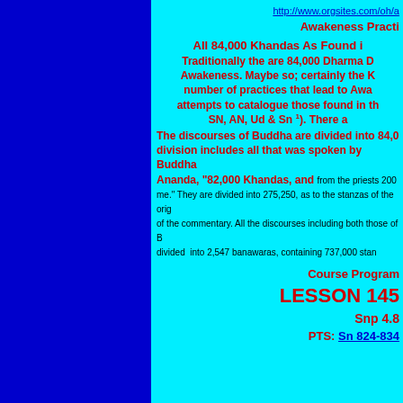http://www.orgsites.com/oh/a
Awakeness Practi...
All 84,000 Khandas As Found i...
Traditionally the are 84,000 Dharma D... Awakeness. Maybe so; certainly the K... number of practices that lead to Awa... attempts to catalogue those found in th... SN, AN, Ud & Sn 1). There a...
The discourses of Buddha are divided into 84,0... division includes all that was spoken by Buddha... Ananda, "82,000 Khandas, and from the priests 200... me." They are divided into 275,250, as to the stanzas of the orig... of the commentary. All the discourses including both those of B... divided into 2,547 banawaras, containing 737,000 stan...
Course Program...
LESSON 145...
Snp 4.8
PTS: Sn 824-834...